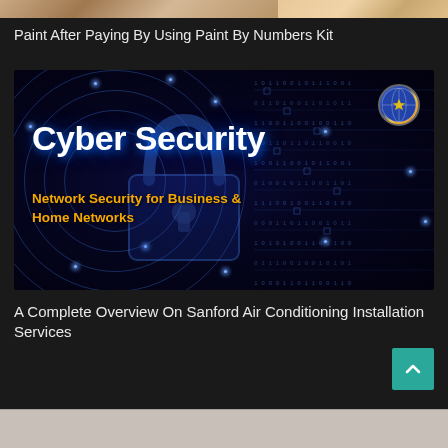[Figure (photo): Partial top strip showing two cropped images side by side — left appears to be a painting/art scene, right appears to be stationery/office items]
Paint After Paying By Using Paint By Numbers Kit
[Figure (photo): Cyber Security thumbnail image: dark blue background with concentric digital rings, a padlock icon in center, white bold text 'Cyber Security' and orange text 'Network Security for Business & Home Networks', circular avatar in top-right corner]
A Complete Overview On Sanford Air Conditioning Installation Services
[Figure (photo): Partial bottom strip — cropped image, light gray/beige tone]